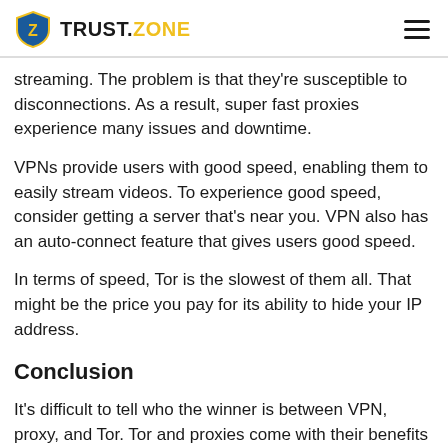TRUST.ZONE
streaming. The problem is that they're susceptible to disconnections. As a result, super fast proxies experience many issues and downtime.
VPNs provide users with good speed, enabling them to easily stream videos. To experience good speed, consider getting a server that's near you. VPN also has an auto-connect feature that gives users good speed.
In terms of speed, Tor is the slowest of them all. That might be the price you pay for its ability to hide your IP address.
Conclusion
It's difficult to tell who the winner is between VPN, proxy, and Tor. Tor and proxies come with their benefits that are lacking in VPN. This means that VPN cannot stand out